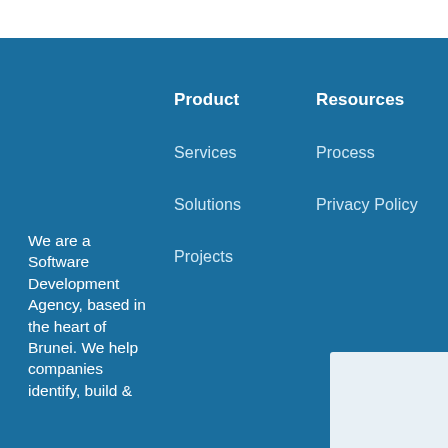Product
Services
Solutions
Projects
Resources
Process
Privacy Policy
We are a Software Development Agency, based in the heart of Brunei. We help companies identify, build &